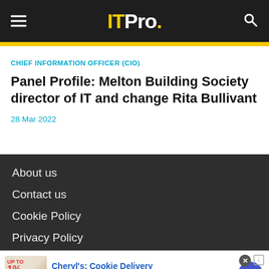IT Pro.
CHIEF INFORMATION OFFICER (CIO)
Panel Profile: Melton Building Society director of IT and change Rita Bullivant
28 Mar 2022
About us
Contact us
Cookie Policy
Privacy Policy
Cheryl's: Cookie Delivery
gourmet brownies, cakes, cookies and cookie gift baskets
www.cheryls.com